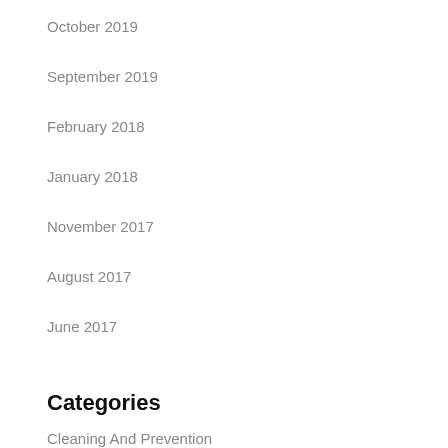October 2019
September 2019
February 2018
January 2018
November 2017
August 2017
June 2017
Categories
Cleaning And Prevention
Cosmetic Dentistry
General Dentistry
Orthodontics